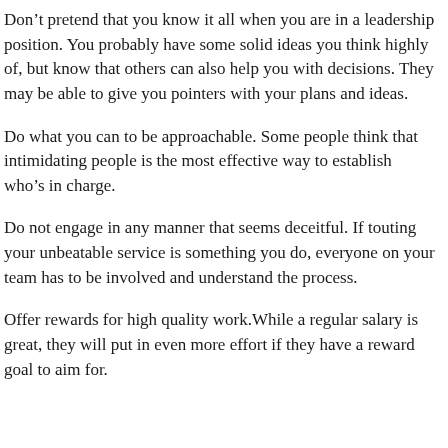Don’t pretend that you know it all when you are in a leadership position. You probably have some solid ideas you think highly of, but know that others can also help you with decisions. They may be able to give you pointers with your plans and ideas.
Do what you can to be approachable. Some people think that intimidating people is the most effective way to establish who’s in charge.
Do not engage in any manner that seems deceitful. If touting your unbeatable service is something you do, everyone on your team has to be involved and understand the process.
Offer rewards for high quality work.While a regular salary is great, they will put in even more effort if they have a reward goal to aim for.